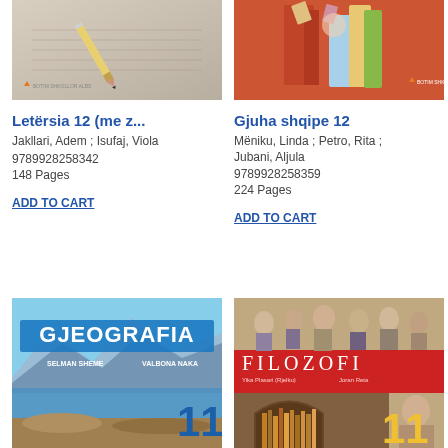[Figure (photo): Book cover with pen/pencil on lined paper, orange triangle logo at bottom left]
[Figure (photo): Book cover with stacked books on red background, orange triangle logo at bottom right]
Letërsia 12 (me z...
Jakllari, Adem ; Isufaj, Viola
9789928258342
148 Pages
ADD TO CART
Gjuha shqipe 12
Mëniku, Linda ; Petro, Rita ;
Jubani, Aljula
9789928258359
224 Pages
ADD TO CART
[Figure (photo): GJEOGRAFIA 11 textbook cover with mountain landscape and lake, authors SELMAN SHEME and VALBONA NAKA]
[Figure (photo): FILOZOFI 11 textbook cover with classical painting at top and library arch image at bottom, red background]